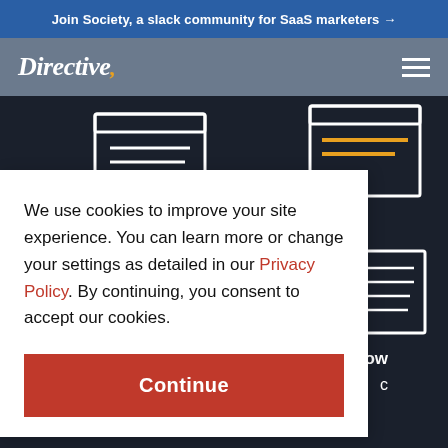Join Society, a slack community for SaaS marketers →
[Figure (logo): Directive logo in white italic serif font on gray navigation bar with hamburger menu icon on right]
[Figure (screenshot): Dark navy website background with white outline icon illustrations of browser windows and list icons, partially visible]
We use cookies to improve your site experience. You can learn more or change your settings as detailed in our Privacy Policy. By continuing, you consent to accept our cookies.
Continue